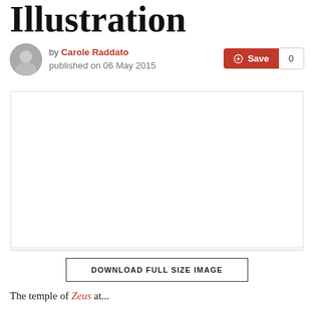Illustration
by Carole Raddato
published on 06 May 2015
[Figure (photo): Large white/blank image placeholder area]
DOWNLOAD FULL SIZE IMAGE
The temple of Zeus at...